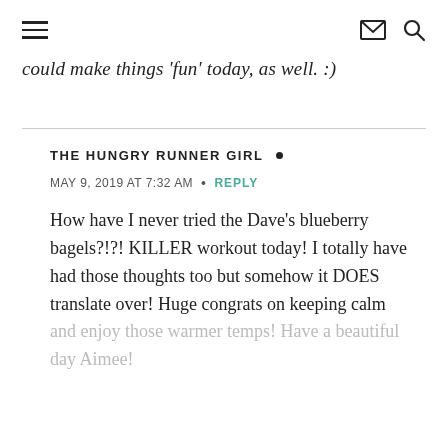≡  ✉ 🔍
could make things 'fun' today, as well. :)
THE HUNGRY RUNNER GIRL •
MAY 9, 2019 AT 7:32 AM  •  REPLY
How have I never tried the Dave's blueberry bagels?!?! KILLER workout today! I totally have had those thoughts too but somehow it DOES translate over! Huge congrats on keeping calm and enjoy those warmer temps! Have a beautiful day Aimee!